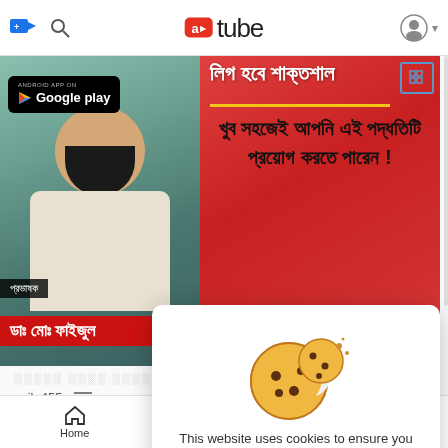a▶tube — video platform header with upload, search, logo, and account icons
[Figure (screenshot): Video thumbnail showing a bearded man in a white kurta on the left with a Google Play badge overlay; right side has red background with Bengali text. Speaker label 'প্রভাষক' and name 'ডাঃ মোঃ ফাইজুল' shown at the bottom.]
saila455   9 Views
[Figure (illustration): Cookie consent popup with illustrated cookies graphic, text: 'This website uses cookies to ensure you get the best experience on our website. Learn More', and a blue 'Got It!' button.]
Home   Trending   (menu icon)